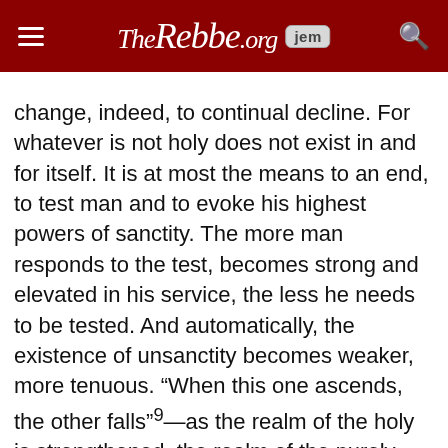TheRebbe.org  jem
change, indeed, to continual decline. For whatever is not holy does not exist in and for itself. It is at most the means to an end, to test man and to evoke his highest powers of sanctity. The more man responds to the test, becomes strong and elevated in his service, the less he needs to be tested. And automatically, the existence of unsanctity becomes weaker, more tenuous. “When this one ascends, the other falls”⁹—as the realm of the holy is strengthened, the realm of the purely secular declines.
This is also the basic distinction between the Chanukah lights and the sacrifices of the festival of Succot. On Succot, seventy bullocks were sacrificed in